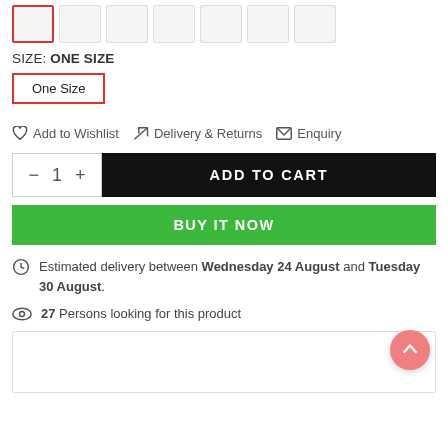[Figure (screenshot): Row of thumbnail image boxes, first one selected with red border]
SIZE: ONE SIZE
One Size
Add to Wishlist   Delivery & Returns   Enquiry
— 1 +   ADD TO CART
BUY IT NOW
Estimated delivery between Wednesday 24 August and Tuesday 30 August.
27 Persons looking for this product